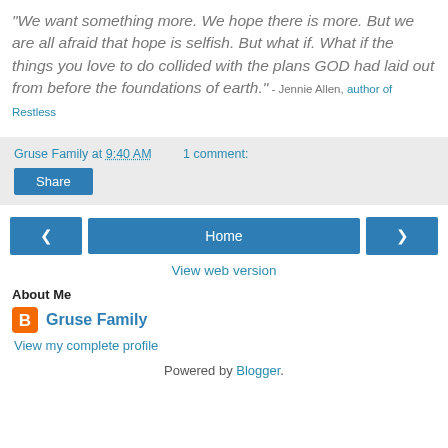"We want something more. We hope there is more. But we are all afraid that hope is selfish. But what if. What if the things you love to do collided with the plans GOD had laid out from before the foundations of earth." - Jennie Allen, author of Restless
Gruse Family at 9:40 AM   1 comment:
Share
< Home >
View web version
About Me
Gruse Family
View my complete profile
Powered by Blogger.